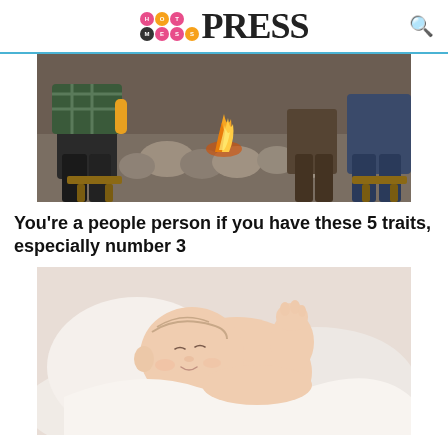HOT MESS PRESS
[Figure (photo): People sitting around a campfire with stones, holding drinks, in casual outdoor setting]
You're a people person if you have these 5 traits, especially number 3
[Figure (photo): Sleeping newborn baby lying on white fluffy blanket in a basket]
Is it finally time for America to outlaw abortion?